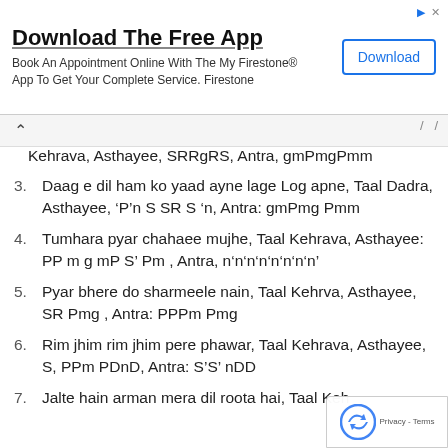[Figure (screenshot): Advertisement banner: Download The Free App - Book An Appointment Online With The My Firestone® App To Get Your Complete Service. Firestone. With a Download button.]
Kehrava, Asthayee, SRRgRS, Antra, gmPmgPmm
3. Daag e dil ham ko yaad ayne lage Log apne, Taal Dadra, Asthayee, 'P'n S SR S 'n, Antra: gmPmg Pmm
4. Tumhara pyar chahaee mujhe, Taal Kehrava, Asthayee: PP m g mP S' Pm , Antra, n'n'n'n'n'n'n'n'
5. Pyar bhere do sharmeele nain, Taal Kehrva, Asthayee, SR Pmg , Antra: PPPm Pmg
6. Rim jhim rim jhim pere phawar, Taal Kehrava, Asthayee, S, PPm PDnD, Antra: S'S' nDD
7. Jalte hain arman mera dil roota hai, Taal Keh…